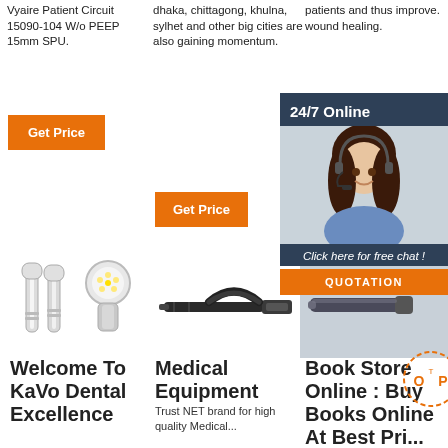Vyaire Patient Circuit 15090-104 W/o PEEP 15mm SPU.
dhaka, chittagong, khulna, sylhet and other big cities are also gaining momentum.
patients and thus improve. wound healing.
Get Price
Get
Get Price
[Figure (illustration): 24/7 Online chat widget with woman wearing headset, dark blue background, 'Click here for free chat!' and QUOTATION button]
[Figure (photo): Dental handpiece/turbine with LED light attachment]
[Figure (photo): Black USB cable or pen-type medical device]
[Figure (photo): Medical pen/device image partially visible with orange QUOTATION button overlay]
Welcome To KaVo Dental Excellence
Medical Equipment
Trust NET brand for high quality Medical...
Book Store Online : Buy Books Online At Best Pri...